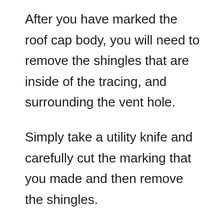After you have marked the roof cap body, you will need to remove the shingles that are inside of the tracing, and surrounding the vent hole.
Simply take a utility knife and carefully cut the marking that you made and then remove the shingles.
Step 5: Loosen The Shingles
Once you have the circular vent hole cut, and removed the surrounding shingles to make room for the square vent body, now you need to loosen the shingles.